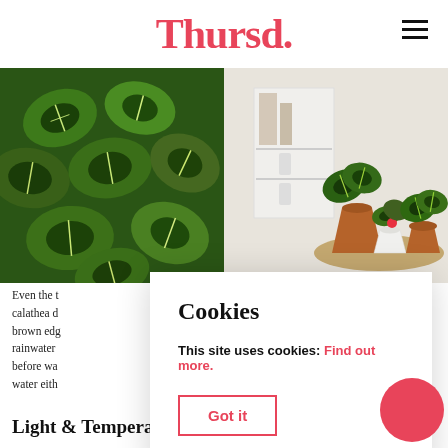Thursd.
[Figure (photo): Two photos side by side: left shows dense green calathea leaves with striped patterns; right shows potted calathea plants on a table next to a white dresser in a home interior.]
Even the t… calathea d… brown edg… rainwater … before wa… water eith…
[Figure (other): Cookie consent modal dialog with title 'Cookies', text 'This site uses cookies: Find out more.' and a 'Got it' button with red border.]
Light & Temperature